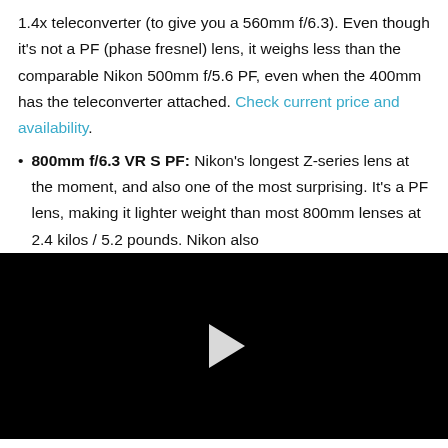1.4x teleconverter (to give you a 560mm f/6.3). Even though it's not a PF (phase fresnel) lens, it weighs less than the comparable Nikon 500mm f/5.6 PF, even when the 400mm has the teleconverter attached. Check current price and availability.
800mm f/6.3 VR S PF: Nikon's longest Z-series lens at the moment, and also one of the most surprising. It's a PF lens, making it lighter weight than most 800mm lenses at 2.4 kilos / 5.2 pounds. Nikon also
[Figure (other): Black video player area with a white play button triangle in the center]